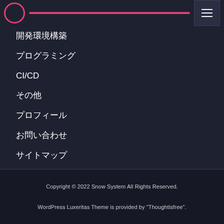開発環境構築
プログラミング
CI/CD
その他
プロフィール
お問い合わせ
サイトマップ
プライバシーポリシー
免責事項
Copyright © 2022 Snow System All Rights Reserved.
WordPress Luxeritas Theme is provided by "Thoughtisfree".